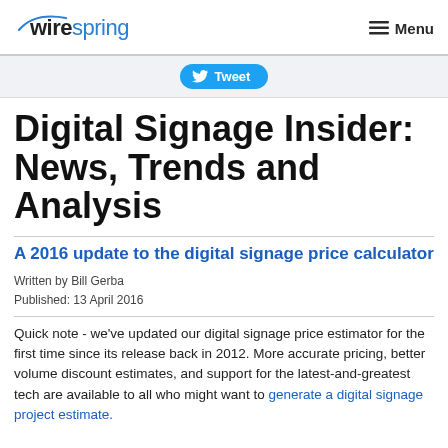wirespring | Menu
[Figure (logo): Wirespring logo with blue swoosh and blue 'spring' text]
Tweet
Digital Signage Insider: News, Trends and Analysis
A 2016 update to the digital signage price calculator
Written by Bill Gerba
Published: 13 April 2016
Quick note - we've updated our digital signage price estimator for the first time since its release back in 2012. More accurate pricing, better volume discount estimates, and support for the latest-and-greatest tech are available to all who might want to generate a digital signage project estimate.